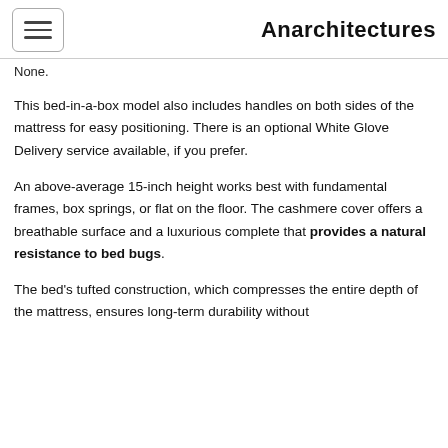Anarchitectures
None.
This bed-in-a-box model also includes handles on both sides of the mattress for easy positioning. There is an optional White Glove Delivery service available, if you prefer.
An above-average 15-inch height works best with fundamental frames, box springs, or flat on the floor. The cashmere cover offers a breathable surface and a luxurious complete that provides a natural resistance to bed bugs.
The bed's tufted construction, which compresses the entire depth of the mattress, ensures long-term durability without